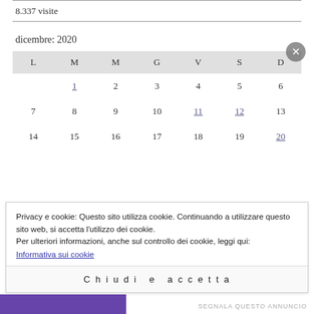8.337 visite
dicembre: 2020
| L | M | M | G | V | S | D |
| --- | --- | --- | --- | --- | --- | --- |
|  | 1 | 2 | 3 | 4 | 5 | 6 |
| 7 | 8 | 9 | 10 | 11 | 12 | 13 |
| 14 | 15 | 16 | 17 | 18 | 19 | 20 |
Privacy e cookie: Questo sito utilizza cookie. Continuando a utilizzare questo sito web, si accetta l'utilizzo dei cookie.
Per ulteriori informazioni, anche sul controllo dei cookie, leggi qui:
Informativa sui cookie
Chiudi e accetta